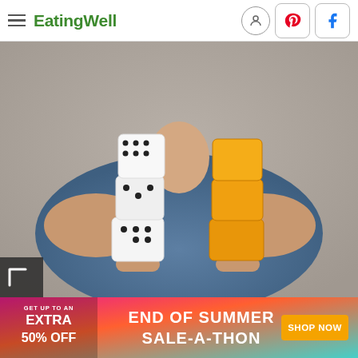EatingWell
[Figure (photo): Person holding two stacks of dice-sized cubes in both hands — white dice stacked on the left, orange cheese cubes stacked on the right, against a blurred background of a person in a blue shirt]
[Figure (infographic): Advertisement banner: GET UP TO AN EXTRA 50% OFF — END OF SUMMER SALE-A-THON — SHOP NOW button]